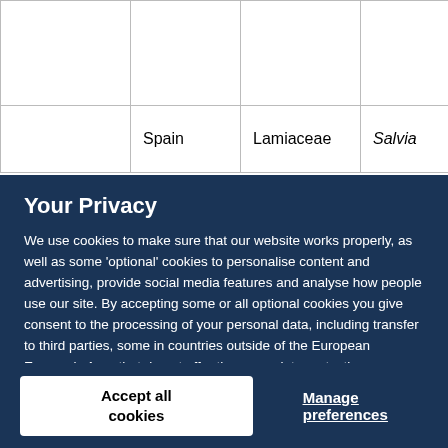|  |  |  |  |
| --- | --- | --- | --- |
|  |  |  |  |
|  | Spain | Lamiaceae | Salvia |
Your Privacy
We use cookies to make sure that our website works properly, as well as some ‘optional’ cookies to personalise content and advertising, provide social media features and analyse how people use our site. By accepting some or all optional cookies you give consent to the processing of your personal data, including transfer to third parties, some in countries outside of the European Economic Area that do not offer the same data protection standards as the country where you live. You can decide which optional cookies to accept by clicking on ‘Manage Settings’, where you can also find more information about how your personal data is processed. Further information can be found in our privacy policy.
Accept all cookies
Manage preferences